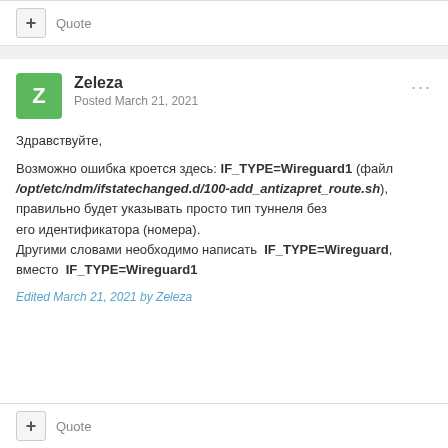+ Quote
Zeleza
Posted March 21, 2021
Здравствуйте,

Возможно ошибка кроется здесь: IF_TYPE=Wireguard1 (файл /opt/etc/ndm/ifstatechanged.d/100-add_antizapret_route.sh), правильно будет указывать просто тип туннеля без его идентификатора (номера).
Другими словами необходимо написать IF_TYPE=Wireguard, вместо IF_TYPE=Wireguard1
Edited March 21, 2021 by Zeleza
+ Quote